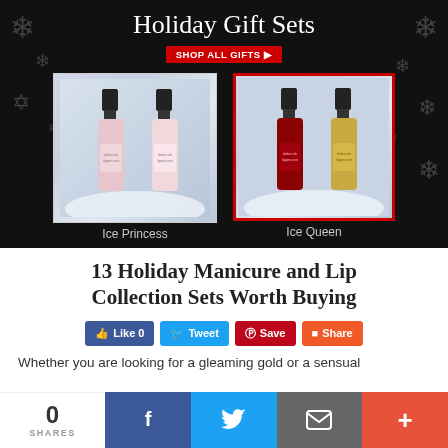[Figure (photo): Holiday Gift Sets banner with black background, snowflake decorations, two nail polish gift sets (Ice Princess with light pink polishes, Ice Queen with red and gold polishes), and a red SHOP ALL GIFTS button]
13 Holiday Manicure and Lip Collection Sets Worth Buying
[Figure (infographic): Social sharing buttons: Like 0 (blue), Tweet (blue), Save (red/pink), Share (orange-red)]
Whether you are looking for a gleaming gold or a sensual
[Figure (infographic): Bottom social share bar: 0 SHARES counter, Facebook (dark blue), Twitter (light blue), Email (gray), Plus/More (orange-red)]